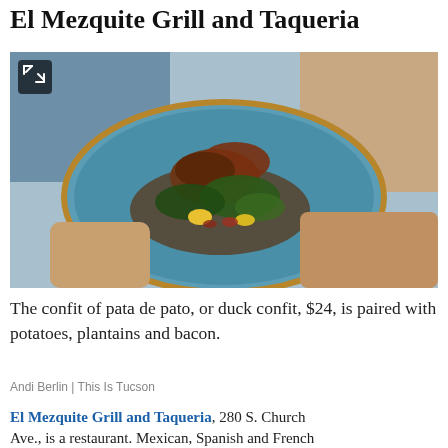El Mezquite Grill and Taqueria
[Figure (photo): A person holding a blue ceramic plate with duck confit (pata de pato) served with potatoes, plantains, dark leafy greens and bacon in a rich sauce.]
The confit of pata de pato, or duck confit, $24, is paired with potatoes, plantains and bacon.
Andi Berlin | This Is Tucson
El Mezquite Grill and Taqueria, 280 S. Church Ave., is a restaurant. Mexican, Spanish and French...